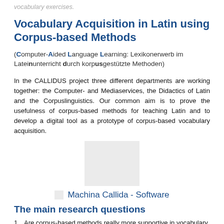vocabulary exercises.
Vocabulary Acquisition in Latin using Corpus-based Methods
(Computer-Aided Language Learning: Lexikonerwerb im Lateinunterricht durch korpusgestützte Methoden)
In the CALLIDUS project three different departments are working together: the Computer- and Mediaservices, the Didactics of Latin and the Corpuslinguistics. Our common aim is to prove the usefulness of corpus-based methods for teaching Latin and to develop a digital tool as a prototype of corpus-based vocabulary acquisition.
[Figure (illustration): A grey placeholder image box above the label 'Machina Callida - Software' with a small grey square icon to the left of the label text.]
The main research questions
Are corpus-based methods really more supportive in vocabulary acquisition than other methods used for teaching foreign